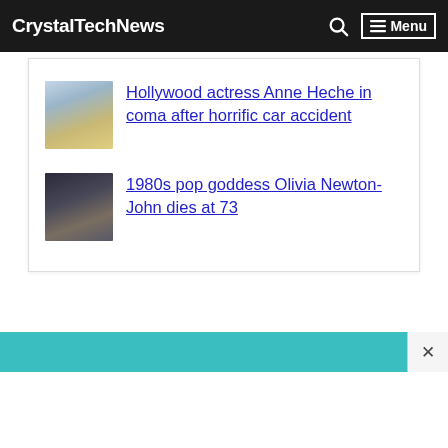CrystalTechNews  🔍  ☰ Menu
Hollywood actress Anne Heche in coma after horrific car accident
1980s pop goddess Olivia Newton-John dies at 73